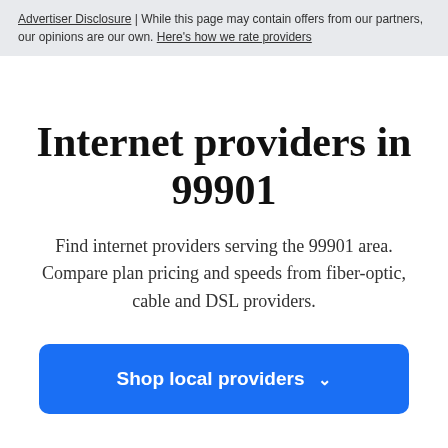Advertiser Disclosure | While this page may contain offers from our partners, our opinions are our own. Here's how we rate providers
Internet providers in 99901
Find internet providers serving the 99901 area. Compare plan pricing and speeds from fiber-optic, cable and DSL providers.
Shop local providers